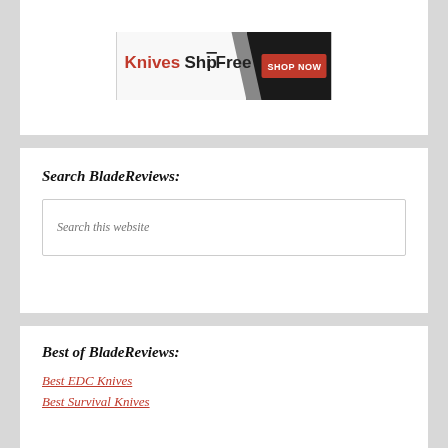[Figure (logo): KnivesShipFree banner ad with red text logo on left and 'SHOP NOW' red button on right, dark knife image in background]
Search BladeReviews:
Search this website
Best of BladeReviews:
Best EDC Knives
Best Survival Knives